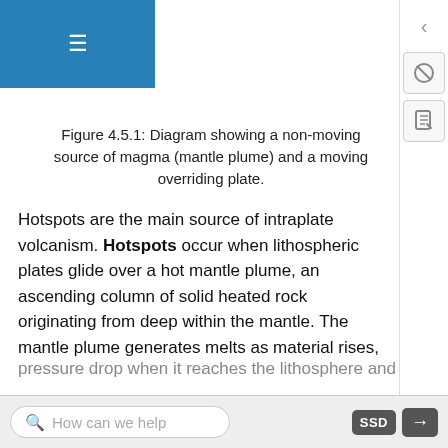≡
Figure 4.5.1: Diagram showing a non-moving source of magma (mantle plume) and a moving overriding plate.
Hotspots are the main source of intraplate volcanism. Hotspots occur when lithospheric plates glide over a hot mantle plume, an ascending column of solid heated rock originating from deep within the mantle. The mantle plume generates melts as material rises,